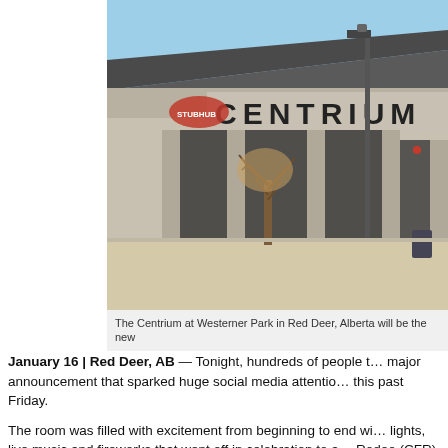[Figure (photo): Exterior photograph of the Centrium arena at Westerner Park in Red Deer, Alberta. The large building features the word CENTRIUM in large letters on its facade. A bare tree stands in the foreground on a sunny day with blue sky visible.]
The Centrium at Westerner Park in Red Deer, Alberta will be the new
January 16 | Red Deer, AB — Tonight, hundreds of people t… major announcement that sparked huge social media attentio… this past Friday.
The room was filled with excitement from beginning to end wi… lights, live music and fireworks that went off in celebration to a… Rodeo (CFR) is coming to Red Deer.